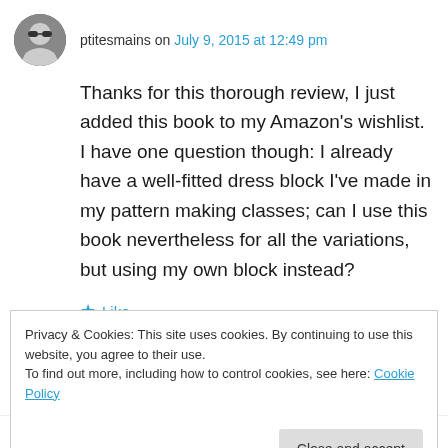ptitesmains on July 9, 2015 at 12:49 pm
Thanks for this thorough review, I just added this book to my Amazon’s wishlist. I have one question though: I already have a well-fitted dress block I’ve made in my pattern making classes; can I use this book nevertheless for all the variations, but using my own block instead?
★ Like
↳ Reply
Privacy & Cookies: This site uses cookies. By continuing to use this website, you agree to their use.
To find out more, including how to control cookies, see here: Cookie Policy
Close and accept
the equivalent of the basic dress. You could